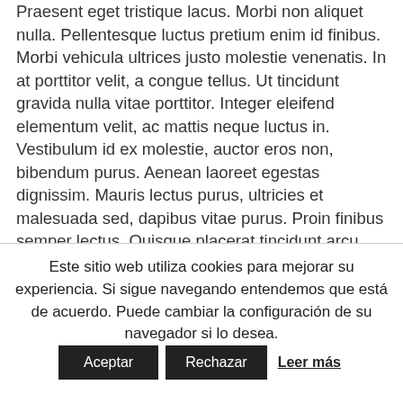Praesent eget tristique lacus. Morbi non aliquet nulla. Pellentesque luctus pretium enim id finibus. Morbi vehicula ultrices justo molestie venenatis. In at porttitor velit, a congue tellus. Ut tincidunt gravida nulla vitae porttitor. Integer eleifend elementum velit, ac mattis neque luctus in. Vestibulum id ex molestie, auctor eros non, bibendum purus. Aenean laoreet egestas dignissim. Mauris lectus purus, ultricies et malesuada sed, dapibus vitae purus. Proin finibus semper lectus. Quisque placerat tincidunt arcu non pulvinar. Proin nec neque iaculis tellus vulputate faucibus. In facilisis diam a sapien ullamcorper mattis. Quisque gravida urna ac posuere sollicitudin.
Este sitio web utiliza cookies para mejorar su experiencia. Si sigue navegando entendemos que está de acuerdo. Puede cambiar la configuración de su navegador si lo desea.